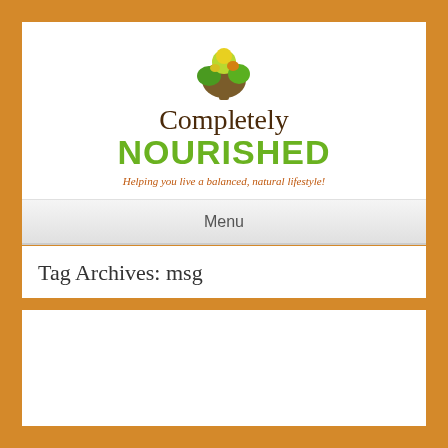[Figure (logo): Completely Nourished logo with a tree icon above the text. Tree has green and yellow leaves. Text reads 'Completely NOURISHED' with tagline 'Helping you live a balanced, natural lifestyle!']
Menu
Tag Archives: msg
How the Food Industry is